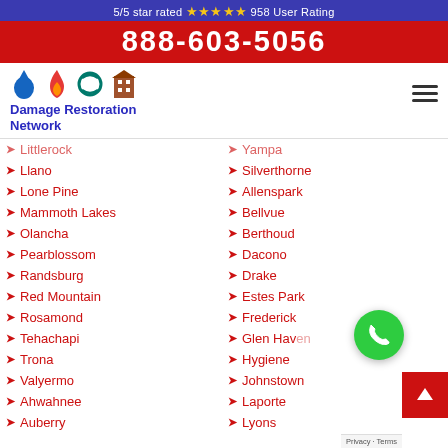5/5 star rated ★★★★★ 958 User Rating
888-603-5056
[Figure (logo): Damage Restoration Network logo with water drop, fire, hurricane, building icons]
Littlerock
Yampa
Llano
Silverthorne
Lone Pine
Allenspark
Mammoth Lakes
Bellvue
Olancha
Berthoud
Pearblossom
Dacono
Randsburg
Drake
Red Mountain
Estes Park
Rosamond
Frederick
Tehachapi
Glen Haven
Trona
Hygiene
Valyermo
Johnstown
Ahwahnee
Laporte
Auberry
Lyons